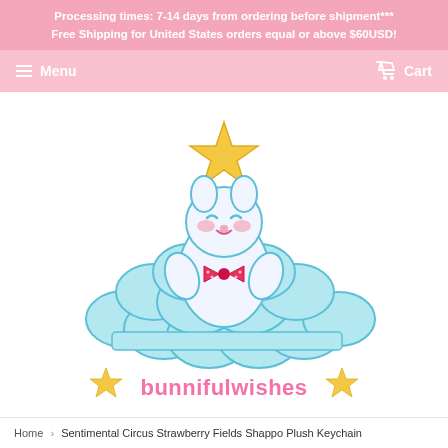Processing times: 7-14 days from ordering before shipment***
Free Shipping for United States orders equal or above $60USD!
Menu  Cart
[Figure (logo): Bunnifulwishes logo: a cute white bunny/hamster sitting on a pile of light blue fluffy clouds, wearing a red polka-dot bow tie, happy expression, with a gold star above its head. Below the figure is the text 'bunnifulwishes' in pink with star decorations on each side.]
Home › Sentimental Circus Strawberry Fields Shappo Plush Keychain